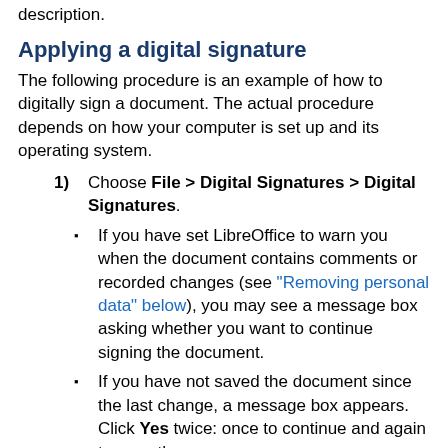description.
Applying a digital signature
The following procedure is an example of how to digitally sign a document. The actual procedure depends on how your computer is set up and its operating system.
1)  Choose File > Digital Signatures > Digital Signatures.
If you have set LibreOffice to warn you when the document contains comments or recorded changes (see “Removing personal data” below), you may see a message box asking whether you want to continue signing the document.
If you have not saved the document since the last change, a message box appears. Click Yes twice: once to continue and again to save the